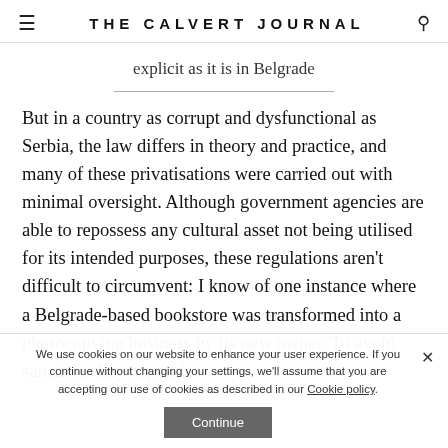THE CALVERT JOURNAL
explicit as it is in Belgrade
But in a country as corrupt and dysfunctional as Serbia, the law differs in theory and practice, and many of these privatisations were carried out with minimal oversight. Although government agencies are able to repossess any cultural asset not being utilised for its intended purposes, these regulations aren't difficult to circumvent: I know of one instance where a Belgrade-based bookstore was transformed into a photocopying business by its new owner. To avoid sanction, they kept a few
We use cookies on our website to enhance your user experience. If you continue without changing your settings, we'll assume that you are accepting our use of cookies as described in our Cookie policy.